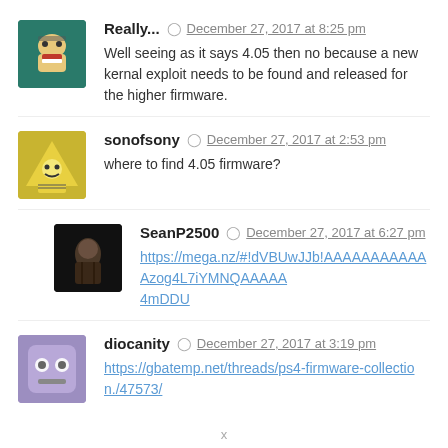Really... December 27, 2017 at 8:25 pm
Well seeing as it says 4.05 then no because a new kernal exploit needs to be found and released for the higher firmware.
sonofsony December 27, 2017 at 2:53 pm
where to find 4.05 firmware?
SeanP2500 December 27, 2017 at 6:27 pm
https://mega.nz/#!dVBUwJJb!AAAAAAAAAAAAzog4L7iYMNQAAAAA4mDDU
diocanity December 27, 2017 at 3:19 pm
https://gbatemp.net/threads/ps4-firmware-collection./47573/